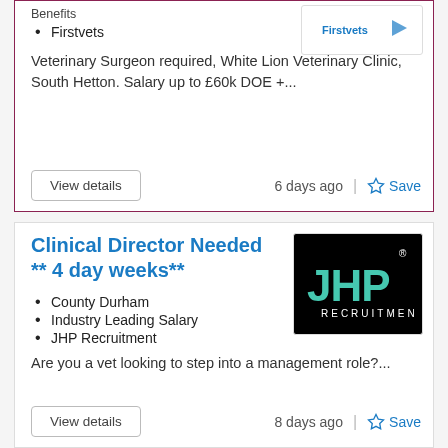Firstvets
Veterinary Surgeon required, White Lion Veterinary Clinic, South Hetton. Salary up to £60k DOE +...
View details
6 days ago
Save
Clinical Director Needed ** 4 day weeks**
County Durham
Industry Leading Salary
JHP Recruitment
[Figure (logo): JHP Recruitment logo, black background with teal/turquoise letters JHP and RECRUITMENT text below]
Are you a vet looking to step into a management role?...
View details
8 days ago
Save